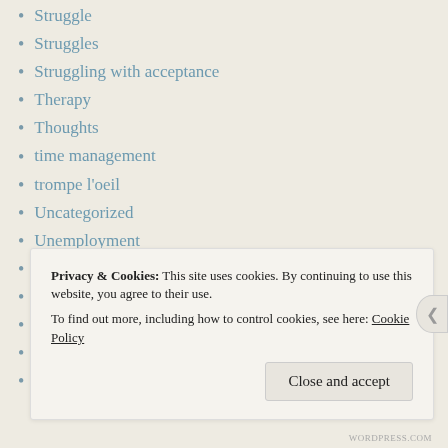Struggle
Struggles
Struggling with acceptance
Therapy
Thoughts
time management
trompe l'oeil
Uncategorized
Unemployment
Upcycling
Watercolor
Words
Writing
Zombies
Privacy & Cookies: This site uses cookies. By continuing to use this website, you agree to their use.
To find out more, including how to control cookies, see here: Cookie Policy
WORDPRESS.COM